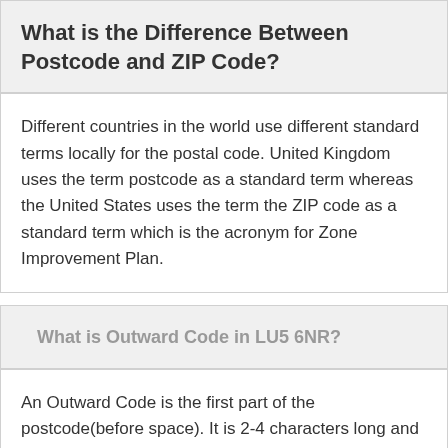What is the Difference Between Postcode and ZIP Code?
Different countries in the world use different standard terms locally for the postal code. United Kingdom uses the term postcode as a standard term whereas the United States uses the term the ZIP code as a standard term which is the acronym for Zone Improvement Plan.
What is Outward Code in LU5 6NR?
An Outward Code is the first part of the postcode(before space). It is 2-4 characters long and always start with a letter but may end up with a number or letter. It is used to indicate the local area where a mail needs to be delivered. In the postcode LU5 6NR , LU5 is the Outward Code. Postcode finder tool is designed to explain the Outward Code of the address you are searching. An Outward Code is further divided into Postcode Area and Postcode District.